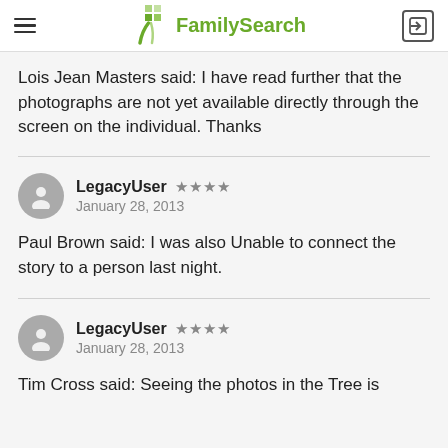FamilySearch
Lois Jean Masters said: I have read further that the photographs are not yet available directly through the screen on the individual. Thanks
LegacyUser ★★★★ January 28, 2013
Paul Brown said: I was also Unable to connect the story to a person last night.
LegacyUser ★★★★ January 28, 2013
Tim Cross said: Seeing the photos in the Tree is